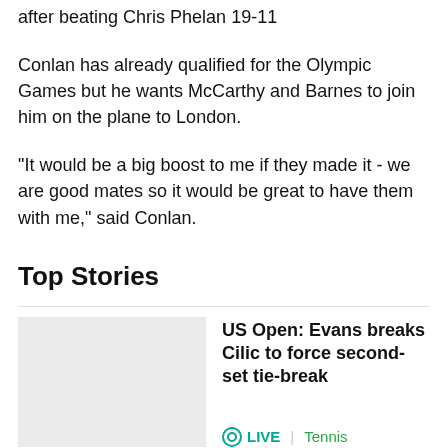after beating Chris Phelan 19-11
Conlan has already qualified for the Olympic Games but he wants McCarthy and Barnes to join him on the plane to London.
"It would be a big boost to me if they made it - we are good mates so it would be great to have them with me," said Conlan.
Top Stories
US Open: Evans breaks Cilic to force second-set tie-break
LIVE | Tennis
[Figure (photo): Placeholder image for US Open story]
[Figure (photo): Placeholder image for next story]